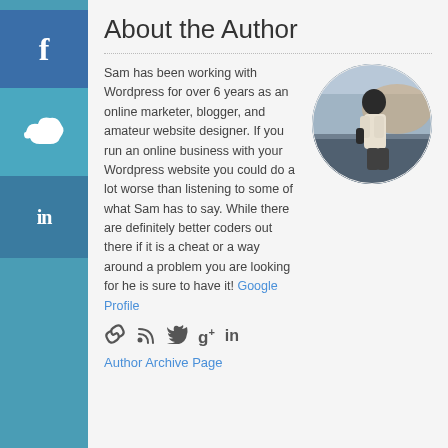[Figure (infographic): Left sidebar with social media icons: Facebook (f), Twitter bird icon, and LinkedIn (in), on teal/blue background]
About the Author
Sam has been working with Wordpress for over 6 years as an online marketer, blogger, and amateur website designer. If you run an online business with your Wordpress website you could do a lot worse than listening to some of what Sam has to say. While there are definitely better coders out there if it is a cheat or a way around a problem you are looking for he is sure to have it! Google Profile
[Figure (photo): Circular profile photo of a person standing outdoors near water at dusk/sunset, wearing a white shirt]
[Figure (infographic): Row of social media icons: link/chain icon, RSS feed icon, Twitter bird icon, Google+ icon, LinkedIn icon]
Author Archive Page